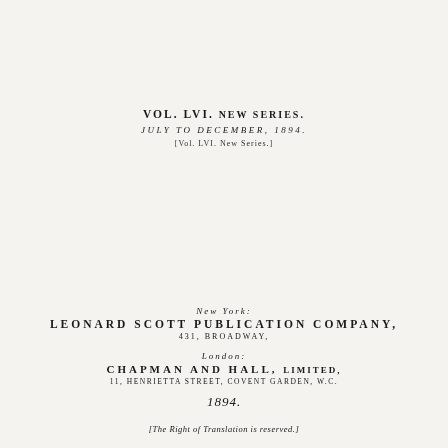VOL. LVI. NEW SERIES.
JULY TO DECEMBER, 1894.
[VOL. LVI. NEW SERIES.]
NEW YORK:
LEONARD SCOTT PUBLICATION COMPANY,
431, BROADWAY,
LONDON:
CHAPMAN AND HALL, LIMITED,
11, HENRIETTA STREET, COVENT GARDEN, W.C.
1894.
[The Right of Translation is reserved.]